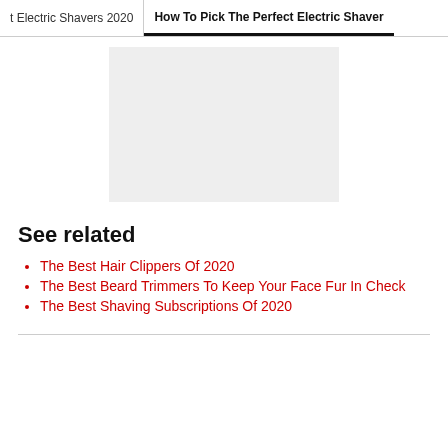t Electric Shavers 2020 | How To Pick The Perfect Electric Shaver
[Figure (other): Gray placeholder image rectangle]
See related
The Best Hair Clippers Of 2020
The Best Beard Trimmers To Keep Your Face Fur In Check
The Best Shaving Subscriptions Of 2020